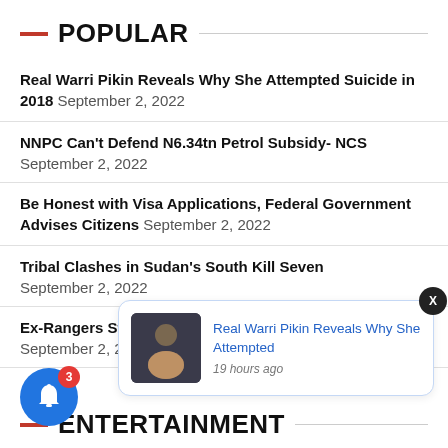POPULAR
Real Warri Pikin Reveals Why She Attempted Suicide in 2018 September 2, 2022
NNPC Can't Defend N6.34tn Petrol Subsidy- NCS September 2, 2022
Be Honest with Visa Applications, Federal Government Advises Citizens September 2, 2022
Tribal Clashes in Sudan's South Kill Seven September 2, 2022
Ex-Rangers Star Hit by Partial Stroke, Seeks Help September 2, 2022
[Figure (screenshot): Notification popup with thumbnail image and text: Real Warri Pikin Reveals Why She Attempted, 19 hours ago]
ENTERTAINMENT